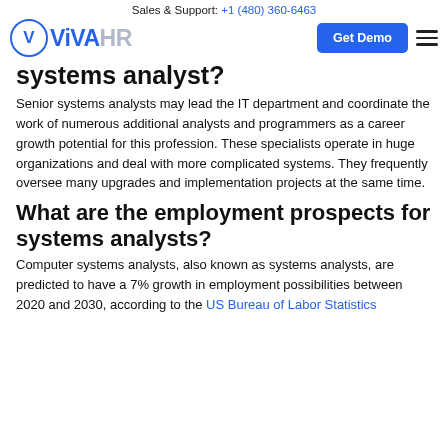Sales & Support: +1 (480) 360-6463
[Figure (logo): ViVA HR logo with circle V emblem, blue Get Demo button, and hamburger menu icon]
systems analyst?
Senior systems analysts may lead the IT department and coordinate the work of numerous additional analysts and programmers as a career growth potential for this profession. These specialists operate in huge organizations and deal with more complicated systems. They frequently oversee many upgrades and implementation projects at the same time.
What are the employment prospects for systems analysts?
Computer systems analysts, also known as systems analysts, are predicted to have a 7% growth in employment possibilities between 2020 and 2030, according to the US Bureau of Labor Statistics